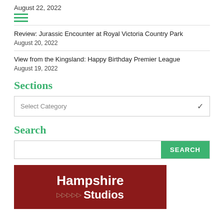August 22, 2022
Review: Jurassic Encounter at Royal Victoria Country Park
August 20, 2022
View from the Kingsland: Happy Birthday Premier League
August 19, 2022
Sections
Select Category
Search
[Figure (logo): Hampshire Studios logo — dark red background with white bold text 'Hampshire Studios' and small arrow icons]
Hampshire Studios